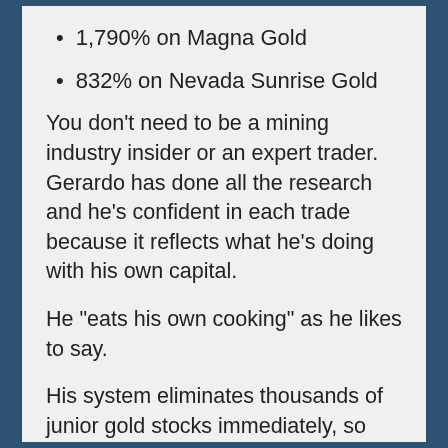1,790% on Magna Gold
832% on Nevada Sunrise Gold
You don’t need to be a mining industry insider or an expert trader. Gerardo has done all the research and he’s confident in each trade because it reflects what he’s doing with his own capital.
He “eats his own cooking” as he likes to say.
His system eliminates thousands of junior gold stocks immediately, so he’s only choosing from a small group of them that are poised for rapid gains. It’s how he creates and compounds wealth for himself and subscribers — trade after trade.
You can expect several alerts per month. And